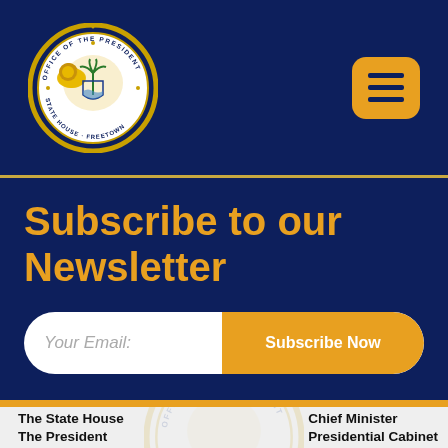[Figure (logo): Official seal of the Office of the President, State House, Freetown, Sierra Leone — circular gold and blue seal with lions and palm trees]
[Figure (other): Orange/amber hamburger menu button with three horizontal lines]
Subscribe to our Newsletter
Your Email:
Subscribe Now
The State House
The President
Chief Minister
Presidential Cabinet